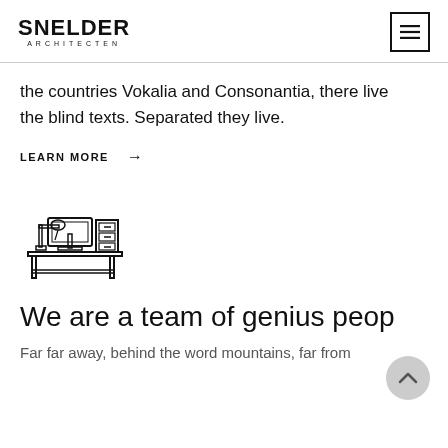SNELDER ARCHITECTEN
the countries Vokalia and Consonantia, there live the blind texts. Separated they live.
LEARN MORE →
[Figure (illustration): Line art icon of a desk with a lamp, monitor, and filing cabinet/folders]
We are a team of genius peop
Far far away, behind the word mountains, far from